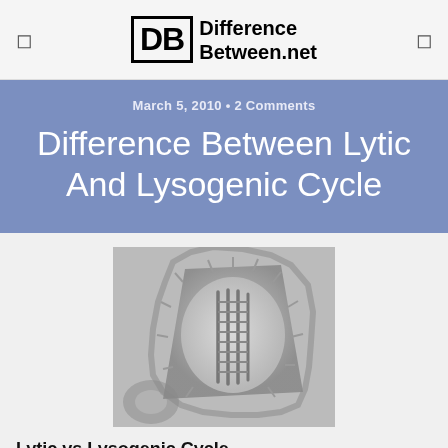DifferenceBetween.net
March 5, 2010 • 2 Comments
Difference Between Lytic And Lysogenic Cycle
[Figure (photo): Electron microscope grayscale image of a bacteriophage virus particle showing triangular/trapezoidal capsid with internal folded DNA structure and spiky outer membrane]
Lytic vs Lysogenic Cycle